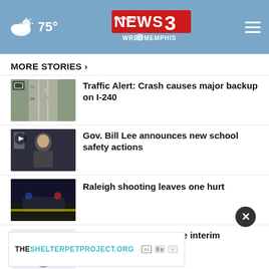[Figure (screenshot): News Channel 3 WREG Memphis website header with weather (75°), logo, and hamburger menu on blue background]
MORE STORIES ›
Traffic Alert: Crash causes major backup on I-240
Gov. Bill Lee announces new school safety actions
Raleigh shooting leaves one hurt
MSCS expected to name interim superintendent
Police called for several incidents by
THESHELTERPETPROJECT.ORG